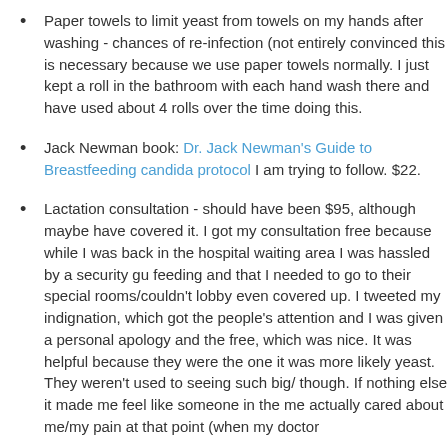Paper towels to limit yeast from towels on my hands after washing - chances of re-infection (not entirely convinced this is necessary because we use paper towels normally. I just kept a roll in the bathroom with each hand wash there and have used about 4 rolls over the time doing this.
Jack Newman book: Dr. Jack Newman's Guide to Breastfeeding candida protocol I am trying to follow. $22.
Lactation consultation - should have been $95, although maybe have covered it. I got my consultation free because while I was back in the hospital waiting area I was hassled by a security guard feeding and that I needed to go to their special rooms/couldn't lobby even covered up. I tweeted my indignation, which got the people's attention and I was given a personal apology and the free, which was nice. It was helpful because they were the one it was more likely yeast. They weren't used to seeing such big/ though. If nothing else it made me feel like someone in the me actually cared about me/my pain at that point (when my doctor
Monistat 7 - before I got the APNO - $11